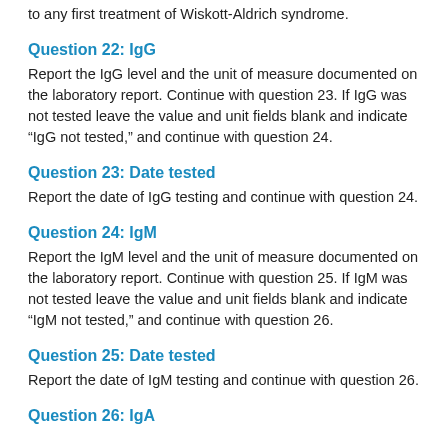to any first treatment of Wiskott-Aldrich syndrome.
Question 22: IgG
Report the IgG level and the unit of measure documented on the laboratory report. Continue with question 23. If IgG was not tested leave the value and unit fields blank and indicate “IgG not tested,” and continue with question 24.
Question 23: Date tested
Report the date of IgG testing and continue with question 24.
Question 24: IgM
Report the IgM level and the unit of measure documented on the laboratory report. Continue with question 25. If IgM was not tested leave the value and unit fields blank and indicate “IgM not tested,” and continue with question 26.
Question 25: Date tested
Report the date of IgM testing and continue with question 26.
Question 26: IgA